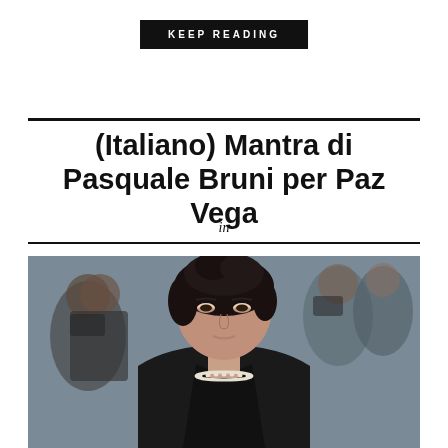KEEP READING
(Italiano) Mantra di Pasquale Bruni per Paz Vega
in
[Figure (photo): Woman with short dark hair wearing a black blazer and pearl necklace at a red carpet event, with photographers in the background]